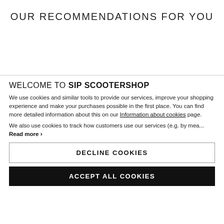OUR RECOMMENDATIONS FOR YOU
WELCOME TO SIP SCOOTERSHOP
We use cookies and similar tools to provide our services, improve your shopping experience and make your purchases possible in the first place. You can find more detailed information about this on our Information about cookies page.
We also use cookies to track how customers use our services (e.g. by mea... Read more ›
DECLINE COOKIES
ACCEPT ALL COOKIES